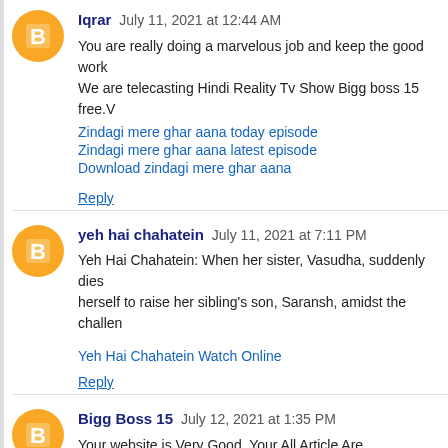Iqrar  July 11, 2021 at 12:44 AM
You are really doing a marvelous job and keep the good work. We are telecasting Hindi Reality Tv Show Bigg boss 15 free.
Zindagi mere ghar aana today episode
Zindagi mere ghar aana latest episode
Download zindagi mere ghar aana
Reply
yeh hai chahatein  July 11, 2021 at 7:11 PM
Yeh Hai Chahatein: When her sister, Vasudha, suddenly dies herself to raise her sibling's son, Saransh, amidst the challen
Yeh Hai Chahatein Watch Online
Reply
Bigg Boss 15  July 12, 2021 at 1:35 PM
Your website is Very Good, Your All Article Are Knowledgeabl